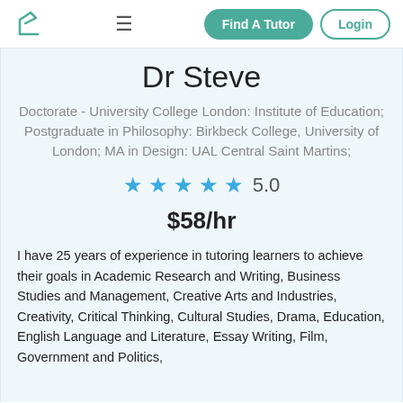Find A Tutor | Login
Dr Steve
Doctorate - University College London: Institute of Education; Postgraduate in Philosophy: Birkbeck College, University of London; MA in Design: UAL Central Saint Martins;
★★★★★ 5.0
$58/hr
I have 25 years of experience in tutoring learners to achieve their goals in Academic Research and Writing, Business Studies and Management, Creative Arts and Industries, Creativity, Critical Thinking, Cultural Studies, Drama, Education, English Language and Literature, Essay Writing, Film, Government and Politics,